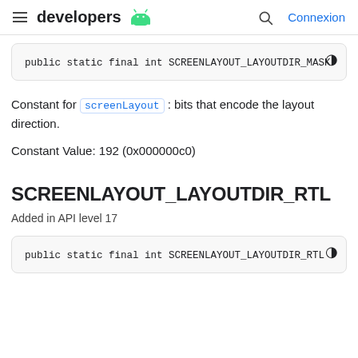developers (Android logo) | search | Connexion
public static final int SCREENLAYOUT_LAYOUTDIR_MASK
Constant for screenLayout : bits that encode the layout direction.
Constant Value: 192 (0x000000c0)
SCREENLAYOUT_LAYOUTDIR_RTL
Added in API level 17
public static final int SCREENLAYOUT_LAYOUTDIR_RTL